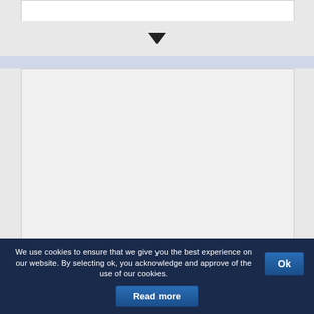[Figure (screenshot): Top portion of a webpage showing a white content box at top, a downward-pointing arrow/chevron indicator, a light blue banner strip, and a large light gray content area box below. Background is light gray.]
We use cookies to ensure that we give you the best experience on our website. By selecting ok, you acknowledge and approve of the use of our cookies.
Ok
Read more